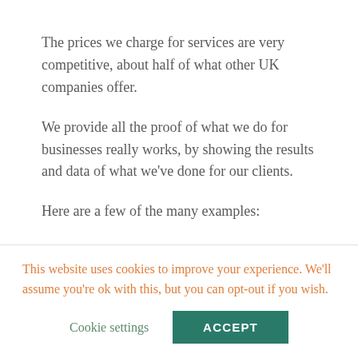The prices we charge for services are very competitive, about half of what other UK companies offer.
We provide all the proof of what we do for businesses really works, by showing the results and data of what we've done for our clients.
Here are a few of the many examples:
Brannigans
This website uses cookies to improve your experience. We'll assume you're ok with this, but you can opt-out if you wish.
Cookie settings
ACCEPT